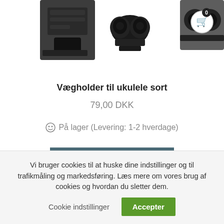[Figure (photo): Product images of black ukulele wall holders/mounts at top of page, partially visible]
[Figure (illustration): Shopping cart icon in a circle with badge showing 0 items, top right corner]
Vægholder til ukulele sort
79,00 DKK
😊 På lager (Levering: 1-2 hverdage)
Læg i kurv
Vi bruger cookies til at huske dine indstillinger og til trafikmåling og markedsføring. Læs mere om vores brug af cookies og hvordan du sletter dem.
Cookie indstillinger
Accepter